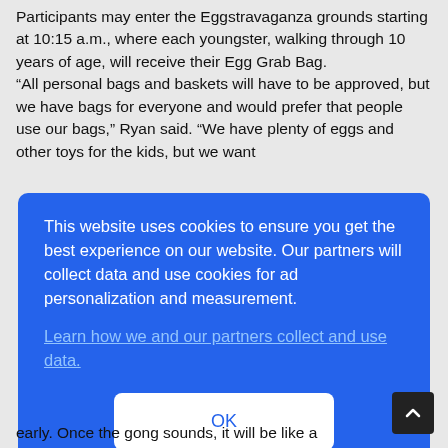Participants may enter the Eggstravaganza grounds starting at 10:15 a.m., where each youngster, walking through 10 years of age, will receive their Egg Grab Bag. “All personal bags and baskets will have to be approved, but we have bags for everyone and would prefer that people use our bags,” Ryan said. “We have plenty of eggs and other toys for the kids, but we want
[Figure (screenshot): Cookie consent overlay dialog with blue background. Text reads: 'This website uses cookies to ensure you get the best experience on our website. Our partners will collect data and use cookies for ad personalization and measurement.' A link 'Learn how we and our partners collect and use data.' and an OK button.]
early. Once the gong sounds, it will be like a